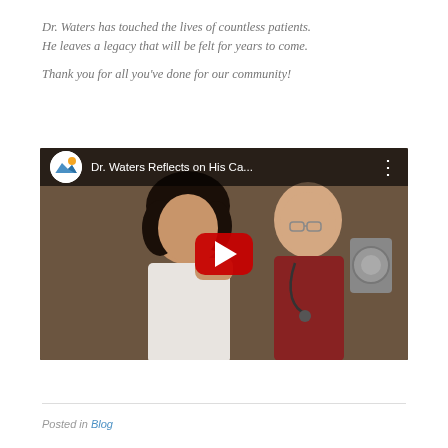Dr. Waters has touched the lives of countless patients. He leaves a legacy that will be felt for years to come.

Thank you for all you've done for our community!
[Figure (screenshot): Embedded YouTube video thumbnail showing Dr. Waters Reflects on His Ca... title with a YouTube play button overlay. The thumbnail shows two people: a young woman in white and a man wearing a stethoscope in red. The YouTube logo appears in the top-left corner.]
Posted in Blog